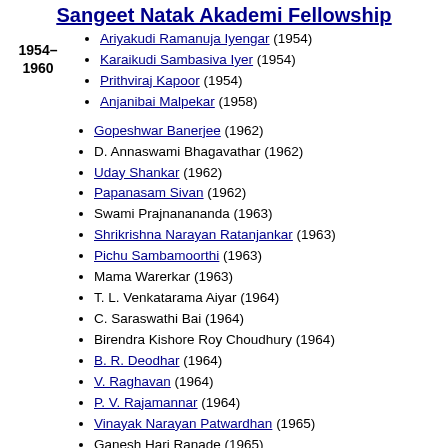Sangeet Natak Akademi Fellowship
Ariyakudi Ramanuja Iyengar (1954)
Karaikudi Sambasiva Iyer (1954)
Prithviraj Kapoor (1954)
Anjanibai Malpekar (1958)
Gopeshwar Banerjee (1962)
D. Annaswami Bhagavathar (1962)
Uday Shankar (1962)
Papanasam Sivan (1962)
Swami Prajnanananda (1963)
Shrikrishna Narayan Ratanjankar (1963)
Pichu Sambamoorthi (1963)
Mama Warerkar (1963)
T. L. Venkatarama Aiyar (1964)
C. Saraswathi Bai (1964)
Birendra Kishore Roy Choudhury (1964)
B. R. Deodhar (1964)
V. Raghavan (1964)
P. V. Rajamannar (1964)
Vinayak Narayan Patwardhan (1965)
Ganesh Hari Ranade (1965)
Dilipkumar Roy (1965)
Jaideva Singh (1965)
D. G. Vyas (1965)